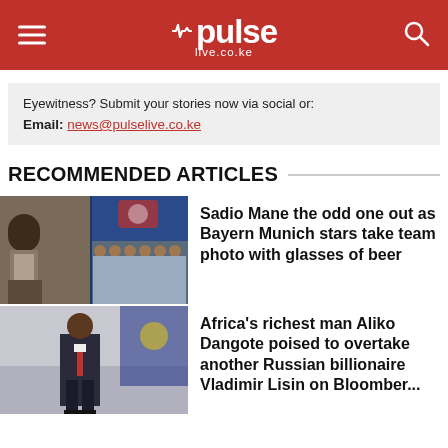pulse live.co.ke
Eyewitness? Submit your stories now via social or:
Email: news@pulselive.co.ke
RECOMMENDED ARTICLES
[Figure (photo): Sadio Mane standing alone in casual wear (left) and Bayern Munich team photo with players holding glasses of beer (right)]
Sadio Mane the odd one out as Bayern Munich stars take team photo with glasses of beer
[Figure (photo): Man in suit standing in front of a building with EU flag]
Africa's richest man Aliko Dangote poised to overtake another Russian billionaire Vladimir Lisin on Bloomber...